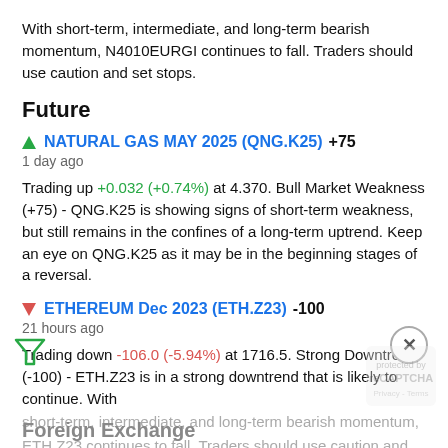With short-term, intermediate, and long-term bearish momentum, N4010EURGI continues to fall. Traders should use caution and set stops.
Future
▲ NATURAL GAS MAY 2025 (QNG.K25) +75
1 day ago
Trading up +0.032 (+0.74%) at 4.370. Bull Market Weakness (+75) - QNG.K25 is showing signs of short-term weakness, but still remains in the confines of a long-term uptrend. Keep an eye on QNG.K25 as it may be in the beginning stages of a reversal.
▼ ETHEREUM Dec 2023 (ETH.Z23) -100
21 hours ago
Trading down -106.0 (-5.94%) at 1716.5. Strong Downtrend (-100) - ETH.Z23 is in a strong downtrend that is likely to continue. With short-term, intermediate, and long-term bearish momentum, ETH.Z23 continues to fall. Traders should use caution and set stops.
Foreign Exchange